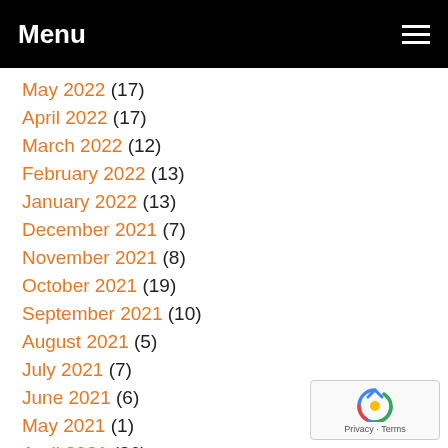Menu
May 2022 (17)
April 2022 (17)
March 2022 (12)
February 2022 (13)
January 2022 (13)
December 2021 (7)
November 2021 (8)
October 2021 (19)
September 2021 (10)
August 2021 (5)
July 2021 (7)
June 2021 (6)
May 2021 (1)
April 2021 (36)
March 2021 (51)